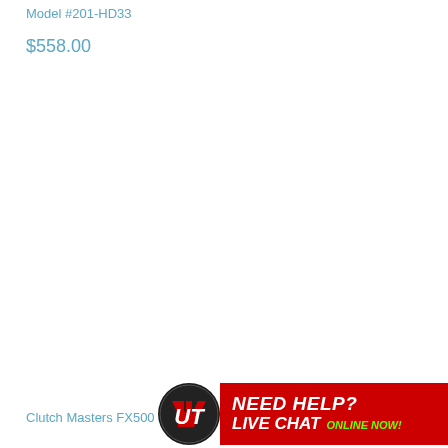Model #201-HD33
$558.00
Clutch Masters FX500 H
[Figure (illustration): Live chat banner with Unlimited Towing logo (red/white UT on dark circular badge), red background panel reading 'NEED HELP? LIVE CHAT ONLINE NOW!' in white and green bold italic text]